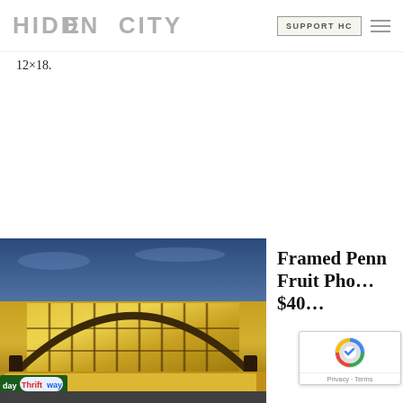HIDDEN CITY | SUPPORT HC
12×18.
[Figure (photo): Exterior photo of a Penn Fruit / Holiday Thriftway store at dusk, featuring a large illuminated arched glass facade with colorful panels, taken at twilight with a blue sky backdrop.]
Framed Penn Fruit Photo $40